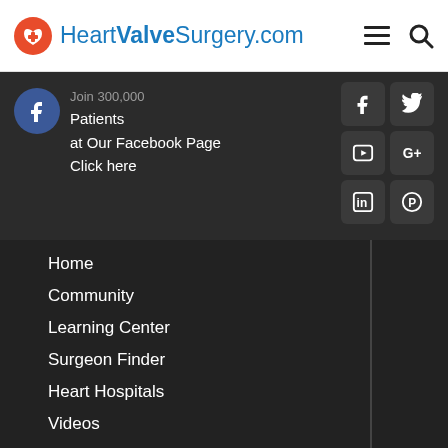HeartValveSurgery.com
Join 300,000 Patients at Our Facebook Page Click here
[Figure (screenshot): Social media icons grid: Facebook, Twitter, YouTube, Google+, LinkedIn, Pinterest]
Home
Community
Learning Center
Surgeon Finder
Heart Hospitals
Videos
Adam's Blog
Book
Hats & Fun Stuff
About Us